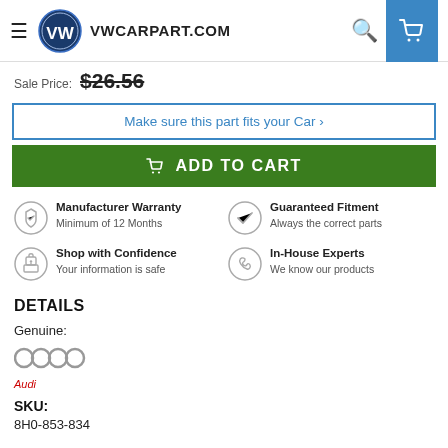VWCARPART.COM
Sale Price: $26.56
Make sure this part fits your Car >
ADD TO CART
Manufacturer Warranty
Minimum of 12 Months
Guaranteed Fitment
Always the correct parts
Shop with Confidence
Your information is safe
In-House Experts
We know our products
DETAILS
Genuine:
[Figure (logo): Audi four-rings logo with Audi text below]
SKU:
8H0-853-834